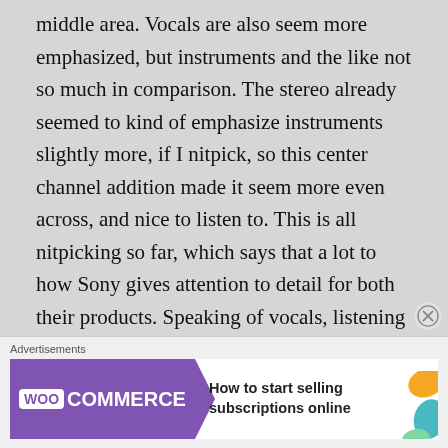middle area. Vocals are also seem more emphasized, but instruments and the like not so much in comparison. The stereo already seemed to kind of emphasize instruments slightly more, if I nitpick, so this center channel addition made it seem more even across, and nice to listen to. This is all nitpicking so far, which says that a lot to how Sony gives attention to detail for both their products. Speaking of vocals, listening to several songs right now, in the Pro Logic II Music setting, I can hear a difference in the clarity of the singers in that I can hear what they are saying clearer. It's not a totally obvious difference, but I can tell without too
[Figure (other): WooCommerce advertisement banner: purple background with WooCommerce logo on left, arrow shape pointing right, text 'How to start selling subscriptions online' on right with decorative colored shapes]